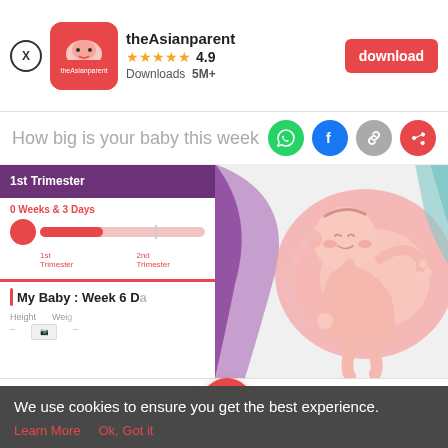[Figure (screenshot): App download banner for theAsianparent app. Shows app icon, name 'theAsianparent', 4.9 star rating, 5M+ downloads, and a red download button.]
theAsianparent
★★★★★ 4.9
Downloads 5M+
download
How big is your baby this week? – Th
[Figure (screenshot): Screenshot of theAsianparent app showing pregnancy tracker: 1st Trimester, 0 Weeks & 3 Days, progress bar, My Baby: Week 6 Da..., Height and Weight fields.]
[Figure (illustration): Cartoon illustration of a baby in a womb, with colorful abstract background in purple, pink and blue.]
[Figure (screenshot): App bottom navigation bar with icons and labels: Tools, Articles, (center pregnancy icon), Feed, Poll]
We use cookies to ensure you get the best experience.
Learn More   Ok, Got it